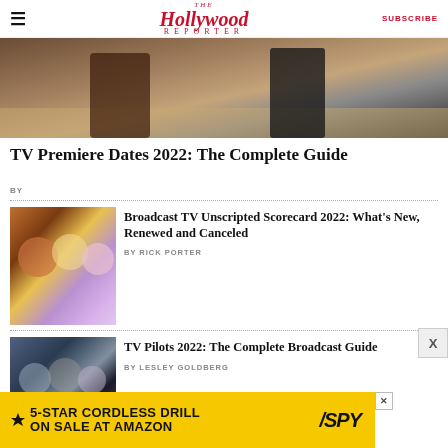≡  The Hollywood Reporter  SUBSCRIBE
[Figure (photo): Two figures standing on sandy ground, one in dark ornate jacket, one in black outfit]
TV Premiere Dates 2022: The Complete Guide
BY
[Figure (photo): Composite photo with multiple TV personalities on colorful background]
Broadcast TV Unscripted Scorecard 2022: What's New, Renewed and Canceled
BY RICK PORTER
[Figure (photo): Group of people in formal wear at an event]
TV Pilots 2022: The Complete Broadcast Guide
BY LESLEY GOLDBERG
[Figure (other): Advertisement banner: 5-STAR CORDLESS DRILL ON SALE AT AMAZON / SPY logo]